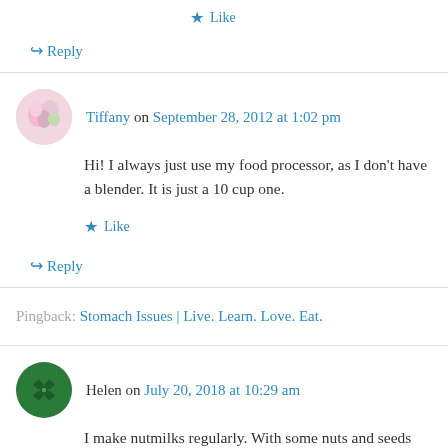★ Like
↪ Reply
Tiffany on September 28, 2012 at 1:02 pm
Hi! I always just use my food processor, as I don't have a blender. It is just a 10 cup one.
★ Like
↪ Reply
Pingback: Stomach Issues | Live. Learn. Love. Eat.
Helen on July 20, 2018 at 10:29 am
I make nutmilks regularly. With some nuts and seeds there is so little residue that it isn't really